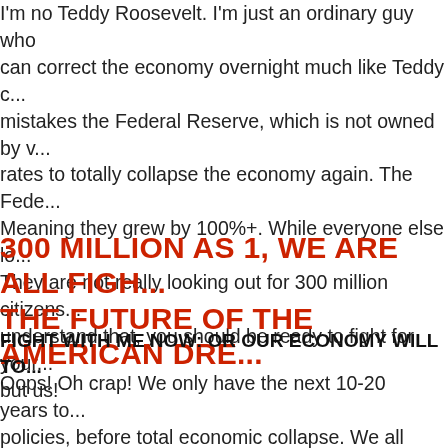I'm no Teddy Roosevelt. I'm just an ordinary guy who can correct the economy overnight much like Teddy c... mistakes the Federal Reserve, which is not owned by v... rates to totally collapse the economy again. The Fede... Meaning they grew by 100%+. While everyone else lo... They are not really looking out for 300 million citizens... understand that, you should be ready to fight for your... but us!
300 MILLION AS 1, WE ARE ALL FIGH... THE FUTURE OF THE AMERICAN DRE...
FIGHT WITH ME NOW: OR OUR ECONOMY WILL TO...
Oops! Oh crap! We only have the next 10-20 years to... policies, before total economic collapse. We all feel it... dream we wake up from every day as we go to work, a... See post World War 1 Germany. Massive inflation, yo...